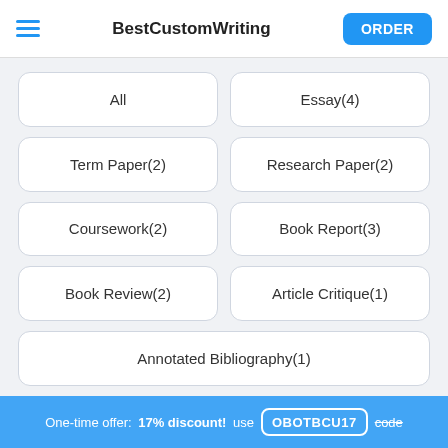BestCustomWriting  ORDER
All
Essay(4)
Term Paper(2)
Research Paper(2)
Coursework(2)
Book Report(3)
Book Review(2)
Article Critique(1)
Annotated Bibliography(1)
One-time offer: 17% discount! use OBOTBCU17 code